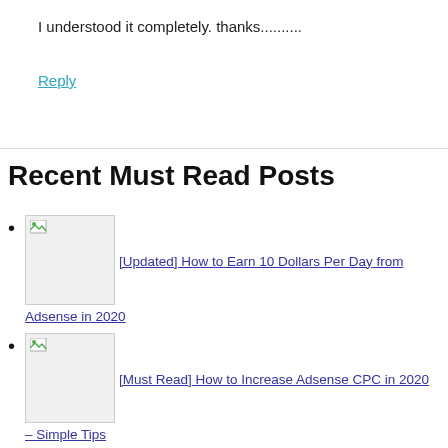I understood it completely. thanks..........
Reply
Recent Must Read Posts
[Updated] How to Earn 10 Dollars Per Day from Adsense in 2020
[Must Read] How to Increase Adsense CPC in 2020 – Simple Tips